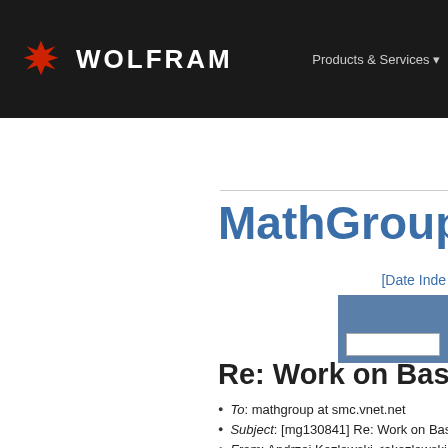WOLFRAM   Products & Services
[Figure (logo): Wolfram logo with red snowflake icon and white WOLFRAM text on dark background, with 'Products & Services' navigation link on the right]
MathGroupArchive
[Date Inde
Re: Work on Basic M
To: mathgroup at smc.vnet.net
Subject: [mg130841] Re: Work on Basic M
From: Andrzej Kozlowski <akozlowski at m